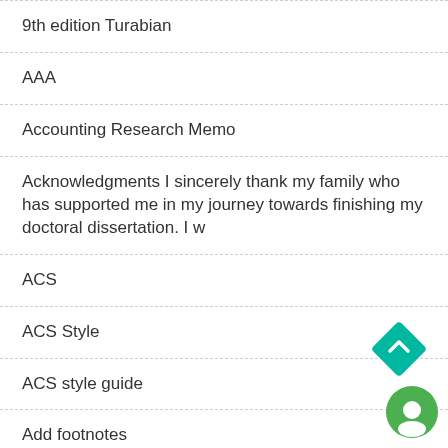9th edition Turabian
AAA
Accounting Research Memo
Acknowledgments I sincerely thank my family who has supported me in my journey towards finishing my doctoral dissertation. I w
ACS
ACS Style
ACS style guide
Add footnotes
AGLC-4